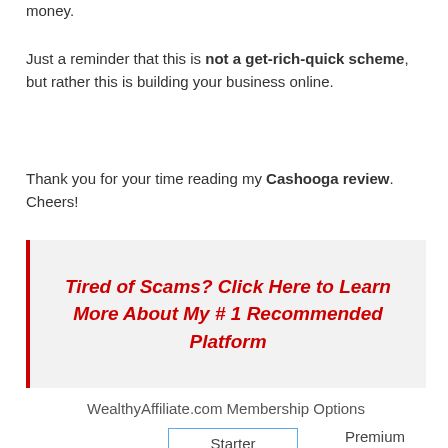money.
Just a reminder that this is not a get-rich-quick scheme, but rather this is building your business online.
Thank you for your time reading my Cashooga review.  Cheers!
Tired of Scams? Click Here to Learn More About My # 1 Recommended Platform
WealthyAffiliate.com Membership Options
Starter
Premium